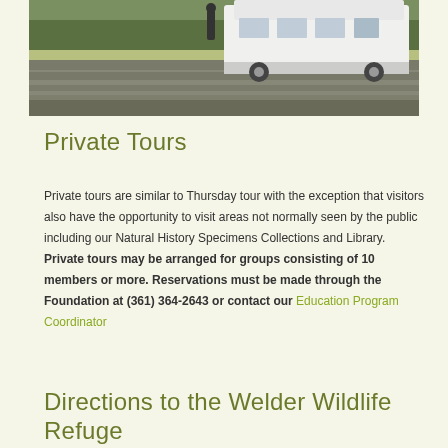[Figure (photo): A white van/bus parked on a shaded driveway or road, with trees and greenery in the background. The bottom portion of the image is visible showing the vehicle and surrounding area.]
Private Tours
Private tours are similar to Thursday tour with the exception that visitors also have the opportunity to visit areas not normally seen by the public including our Natural History Specimens Collections and Library. Private tours may be arranged for groups consisting of 10 members or more. Reservations must be made through the Foundation at (361) 364-2643 or contact our Education Program Coordinator
Directions to the Welder Wildlife Refuge